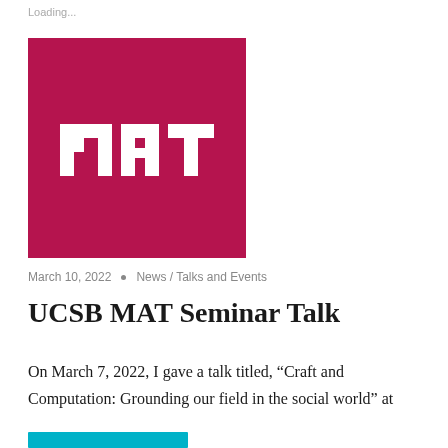Loading...
[Figure (logo): MAT program logo: white pixelated/blocky text 'MAT' on a dark magenta/crimson square background]
March 10, 2022  •  News / Talks and Events
UCSB MAT Seminar Talk
On March 7, 2022, I gave a talk titled, “Craft and Computation: Grounding our field in the social world” at